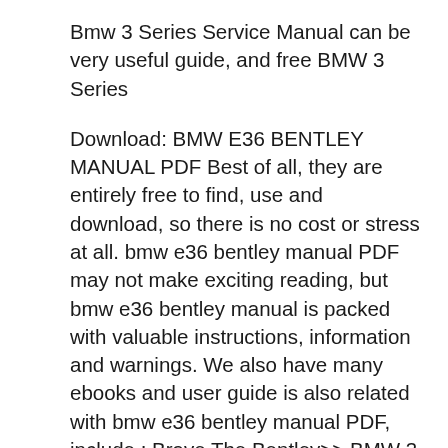Bmw 3 Series Service Manual can be very useful guide, and free BMW 3 Series
Download: BMW E36 BENTLEY MANUAL PDF Best of all, they are entirely free to find, use and download, so there is no cost or stress at all. bmw e36 bentley manual PDF may not make exciting reading, but bmw e36 bentley manual is packed with valuable instructions, information and warnings. We also have many ebooks and user guide is also related with bmw e36 bentley manual PDF, include : Brave The Bentley>> BMW 3 Series(E36) Service Manual https://cm108.comhttps://www.facebook.com/chiangmai108